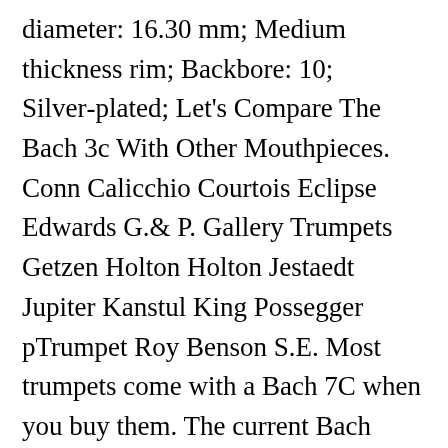diameter: 16.30 mm; Medium thickness rim; Backbore: 10; Silver-plated; Let's Compare The Bach 3c With Other Mouthpieces. Conn Calicchio Courtois Eclipse Edwards G.& P. Gallery Trumpets Getzen Holton Holton Jestaedt Jupiter Kanstul King Possegger pTrumpet Roy Benson S.E. Most trumpets come with a Bach 7C when you buy them. The current Bach Chicago is essentially a replica of the 1950's horn that made the Bach C trumpet the standard in American orchestras for decades. The musical instrument produces a sharp response and even intonation, which makes it one of the preferred choices among players that value